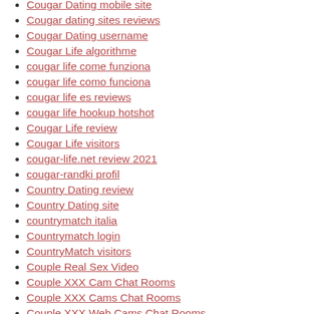Cougar Dating mobile site
Cougar dating sites reviews
Cougar Dating username
Cougar Life algorithme
cougar life come funziona
cougar life como funciona
cougar life es reviews
cougar life hookup hotshot
Cougar Life review
Cougar Life visitors
cougar-life.net review 2021
cougar-randki profil
Country Dating review
Country Dating site
countrymatch italia
Countrymatch login
CountryMatch visitors
Couple Real Sex Video
Couple XXX Cam Chat Rooms
Couple XXX Cams Chat Rooms
Couple XXX Web Cams Chat Rooms
cowboy-dating reviews
Coworking space
Crossdresser Dating Ho pensato a TIDS
Crossdresser Dating visitors